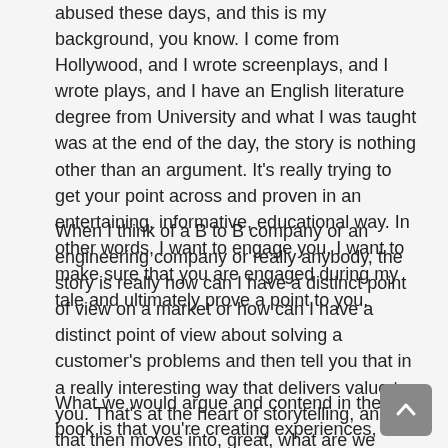abused these days, and this is my background, you know. I come from Hollywood, and I wrote screenplays, and I wrote plays, and I have an English literature degree from University and what I was taught was at the end of the day, the story is nothing other than an argument. It's really trying to get your point across and proven in an entertaining, informative, educational way. In other words, I want to engage you. I want to make sure that you are engaged during my tale and ultimately prove a point to you.
When I think of a B to B company or an engineering company or really anybody, the story is really how can I have a distinct point of view on a market or how can I have a distinct point of view about solving a customer's problems and then tell you that in a really interesting way that delivers value to you. That's at the heart of storytelling, and that then moves into, great, what are we actually creating to tell these stories?
What we would argue and contend in the book is that you're creating experiences, customer experiences and your audience certainly in service design will